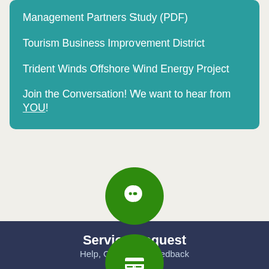Management Partners Study (PDF)
Tourism Business Improvement District
Trident Winds Offshore Wind Energy Project
Join the Conversation! We want to hear from YOU!
[Figure (illustration): Green circle icon with white speech/chat bubble symbol]
Service Request
Help, Questions, Feedback
[Figure (illustration): Green circle icon with white credit card / list symbol]